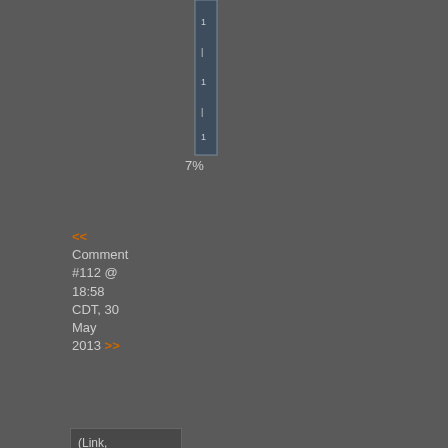[Figure (bar-chart): Partial bar chart showing 7% label at bottom, bar visible at top of page]
7%
<< Comment #112 @ 18:58 CDT, 30 May 2013 >>
(Link, Reply)
By DNFre
-
Reply to #13

You did miss funny

and amaz Ins ofc!!